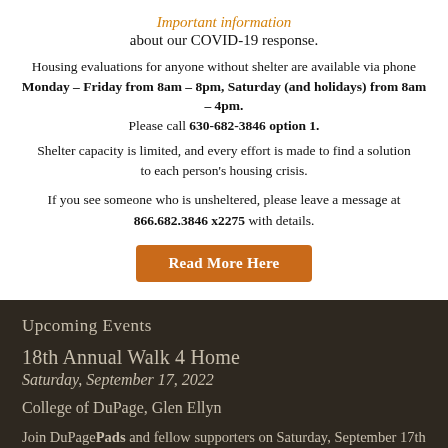Important information about our COVID-19 response.
Housing evaluations for anyone without shelter are available via phone Monday – Friday from 8am – 8pm, Saturday (and holidays) from 8am – 4pm. Please call 630-682-3846 option 1. Shelter capacity is limited, and every effort is made to find a solution to each person's housing crisis.
If you see someone who is unsheltered, please leave a message at 866.682.3846 x2275 with details.
Read More Here
Upcoming Events
18th Annual Walk 4 Home
Saturday, September 17, 2022
College of DuPage, Glen Ellyn
Join DuPagePads and fellow supporters on Saturday, September 17th to complete your 2-mile walk at College of DuPage. After the walk, stay for College of DuPage's Chaparral